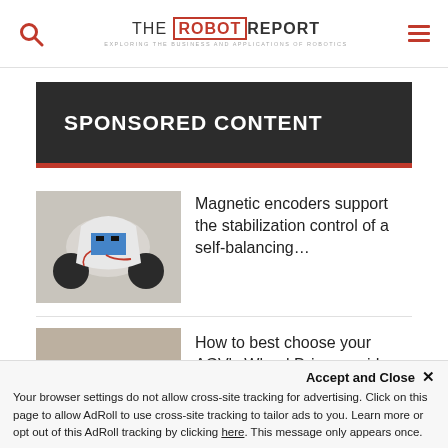THE ROBOT REPORT — Exploring the business and applications of robotics
SPONSORED CONTENT
[Figure (photo): Small self-balancing robot with two wheels, built from 3D-printed white plastic parts with electronics and red wires visible]
Magnetic encoders support the stabilization control of a self-balancing…
[Figure (photo): Warehouse scene with cardboard boxes on a floor, automated guided vehicle context]
How to best choose your AGV's Wheel Drive provider
Accept and Close ✕
Your browser settings do not allow cross-site tracking for advertising. Click on this page to allow AdRoll to use cross-site tracking to tailor ads to you. Learn more or opt out of this AdRoll tracking by clicking here. This message only appears once.